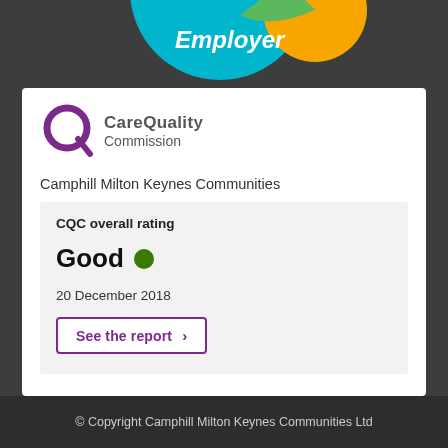[Figure (logo): Partial Disability Confident Employer logo cropped at the top of the page (teal and orange badge with 'Employer' text)]
[Figure (logo): Care Quality Commission logo: purple Q circle icon with 'CareQuality Commission' text in grey]
Camphill Milton Keynes Communities
CQC overall rating
Good
20 December 2018
See the report >
© Copyright Camphill Milton Keynes Communities Ltd